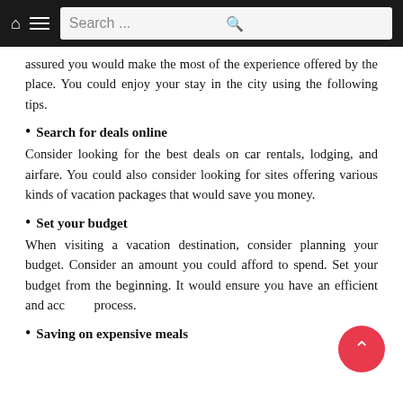Search ...
assured you would make the most of the experience offered by the place. You could enjoy your stay in the city using the following tips.
Search for deals online
Consider looking for the best deals on car rentals, lodging, and airfare. You could also consider looking for sites offering various kinds of vacation packages that would save you money.
Set your budget
When visiting a vacation destination, consider planning your budget. Consider an amount you could afford to spend. Set your budget from the beginning. It would ensure you have an efficient and accurate process.
Saving on expensive meals